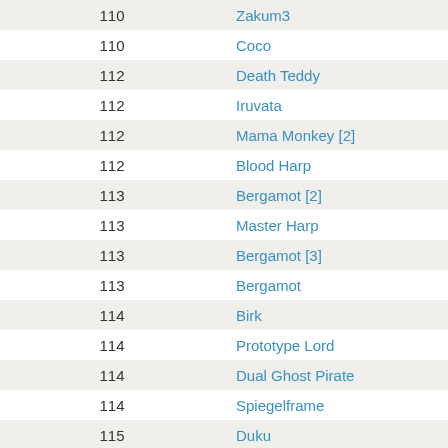| Level | Name |
| --- | --- |
| 110 | Zakum3 |
| 110 | Coco |
| 112 | Death Teddy |
| 112 | Iruvata |
| 112 | Mama Monkey [2] |
| 112 | Blood Harp |
| 113 | Bergamot [2] |
| 113 | Master Harp |
| 113 | Bergamot [3] |
| 113 | Bergamot |
| 114 | Birk |
| 114 | Prototype Lord |
| 114 | Dual Ghost Pirate |
| 114 | Spiegelframe |
| 115 | Duku |